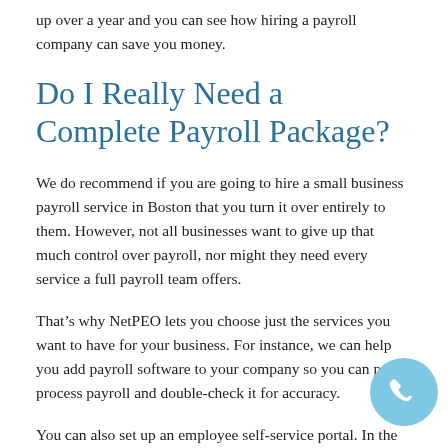up over a year and you can see how hiring a payroll company can save you money.
Do I Really Need a Complete Payroll Package?
We do recommend if you are going to hire a small business payroll service in Boston that you turn it over entirely to them. However, not all businesses want to give up that much control over payroll, nor might they need every service a full payroll team offers.
That’s why NetPEO lets you choose just the services you want to have for your business. For instance, we can help you add payroll software to your company so you can pre-process payroll and double-check it for accuracy.
You can also set up an employee self-service portal. In the portal, they can check their pay stubs, get W-2 information,